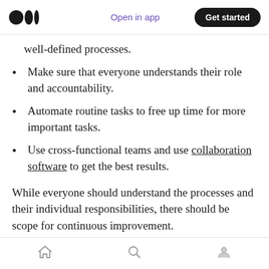Open in app | Get started
well-defined processes.
Make sure that everyone understands their role and accountability.
Automate routine tasks to free up time for more important tasks.
Use cross-functional teams and use collaboration software to get the best results.
While everyone should understand the processes and their individual responsibilities, there should be scope for continuous improvement.
Home | Search | Profile